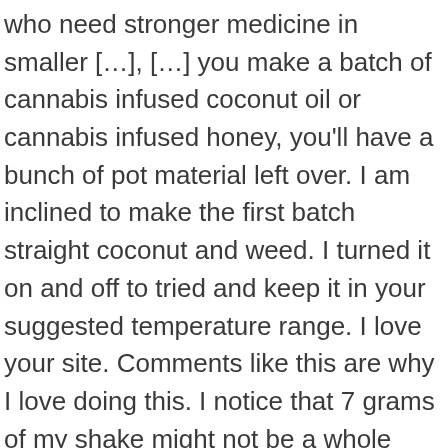who need stronger medicine in smaller […], […] you make a batch of cannabis infused coconut oil or cannabis infused honey, you'll have a bunch of pot material left over. I am inclined to make the first batch straight coconut and weed. I turned it on and off to tried and keep it in your suggested temperature range. I love your site. Comments like this are why I love doing this. I notice that 7 grams of my shake might not be a whole cup. Hi, Corinne. Not all brands included. 5. Thank you! The ratio should be around .094g of B6 or limonene per 1 gram of cannabis (@20% potency) so .7g for 7g cannabis or .78g for (@25% potency) of same weight. Thank you, Christova. You can sub it 1:1 for cannabis infused oil. I've made this recipe a couple of times now. thanks again. I shoot for an amber colored oil (which just means less plant